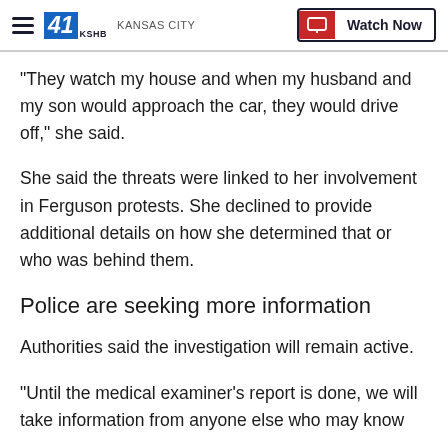41 KSHB KANSAS CITY | Watch Now
"They watch my house and when my husband and my son would approach the car, they would drive off," she said.
She said the threats were linked to her involvement in Ferguson protests. She declined to provide additional details on how she determined that or who was behind them.
Police are seeking more information
Authorities said the investigation will remain active.
"Until the medical examiner's report is done, we will take information from anyone else who may know something..." McCoy said